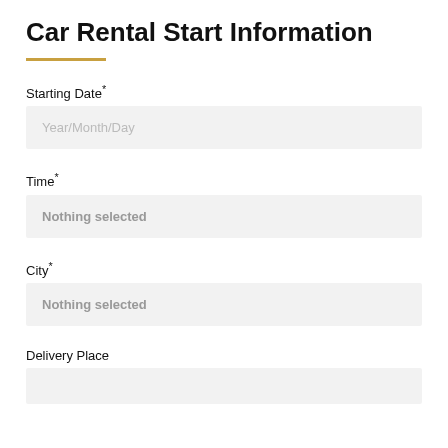Car Rental Start Information
Starting Date*
Year/Month/Day
Time*
Nothing selected
City*
Nothing selected
Delivery Place